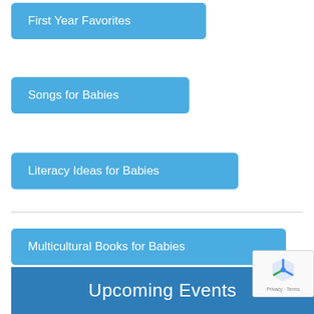First Year Favorites
Songs for Babies
Literacy Ideas for Babies
Multicultural Books for Babies
← Older posts
Upcoming Events